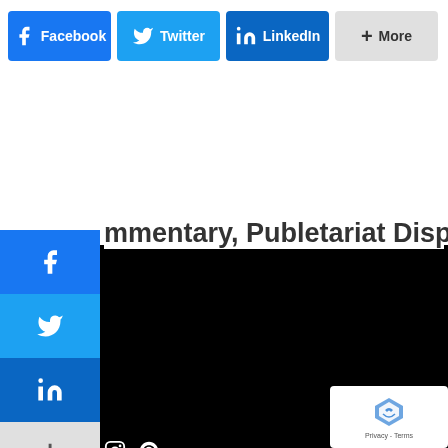[Figure (infographic): Social share button bar with Facebook, Twitter, LinkedIn, and More buttons across the top]
mmentary, Publetariat Dispatch
[Figure (infographic): Left-side floating social share sidebar with Facebook, Twitter, LinkedIn, and More (+) buttons]
[Figure (infographic): Instagram and Pinterest social media icons on dark background]
nces to prices on this website refer to prices on the main Amazon.com e for US customers. Prices will vary for readers located outside the US, ices for US customers may change at any time. Always check the price on on before making a purchase.
Contact Us
Name
Get Great Deals delivered